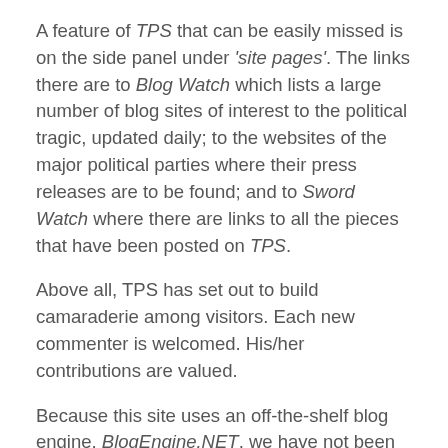A feature of TPS that can be easily missed is on the side panel under 'site pages'. The links there are to Blog Watch which lists a large number of blog sites of interest to the political tragic, updated daily; to the websites of the major political parties where their press releases are to be found; and to Sword Watch where there are links to all the pieces that have been posted on TPS.
Above all, TPS has set out to build camaraderie among visitors. Each new commenter is welcomed. His/her contributions are valued.
Because this site uses an off-the-shelf blog engine, BlogEngine.NET, we have not been able to find a way of avoiding the mindless spam that seems to infect the site, sometimes in epidemic proportions. So a task each morning is to delete the spam that has arrived overnight. Your understanding and tolerance is appreciated; the spam is deleted as soon as we see it, but some slips